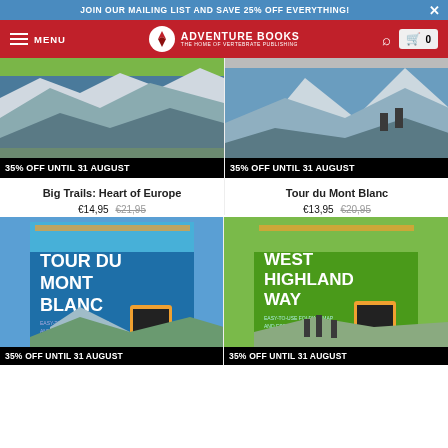JOIN OUR MAILING LIST AND SAVE 25% OFF EVERYTHING!
[Figure (screenshot): Adventure Books navigation bar with logo, menu, search, and cart]
[Figure (photo): Book cover: Big Trails: Heart of Europe showing mountain landscape]
35% OFF UNTIL 31 AUGUST
Big Trails: Heart of Europe
€14,95 €21,95
[Figure (photo): Book cover: Tour du Mont Blanc showing two hikers on mountain]
35% OFF UNTIL 31 AUGUST
Tour du Mont Blanc
€13,95 €20,95
[Figure (photo): Book cover: Tour du Mont Blanc folding map with mobile phone]
35% OFF UNTIL 31 AUGUST
[Figure (photo): Book cover: West Highland Way folding map with mobile phone]
35% OFF UNTIL 31 AUGUST